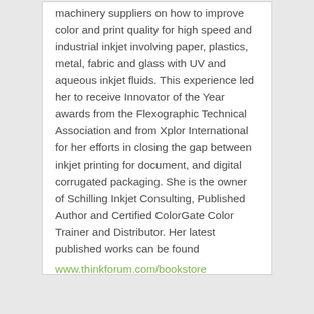machinery suppliers on how to improve color and print quality for high speed and industrial inkjet involving paper, plastics, metal, fabric and glass with UV and aqueous inkjet fluids. This experience led her to receive Innovator of the Year awards from the Flexographic Technical Association and from Xplor International for her efforts in closing the gap between inkjet printing for document, and digital corrugated packaging. She is the owner of Schilling Inkjet Consulting, Published Author and Certified ColorGate Color Trainer and Distributor. Her latest published works can be found
www.thinkforum.com/bookstore